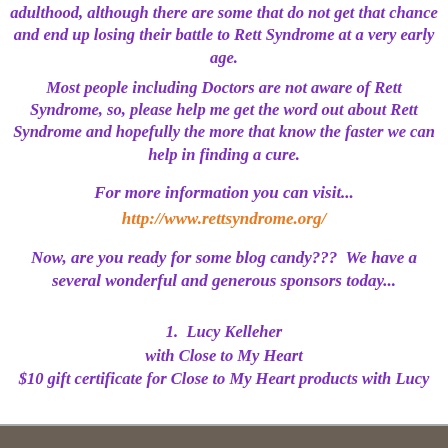adulthood, although there are some that do not get that chance and end up losing their battle to Rett Syndrome at a very early age.
Most people including Doctors are not aware of Rett Syndrome, so, please help me get the word out about Rett Syndrome and hopefully the more that know the faster we can help in finding a cure.
For more information you can visit...
http://www.rettsyndrome.org/
Now, are you ready for some blog candy???  We have a several wonderful and generous sponsors today...
1.  Lucy Kelleher
with Close to My Heart
$10 gift certificate for Close to My Heart products with Lucy
[Figure (photo): Bottom strip showing a partial image, partially visible at the bottom of the page]